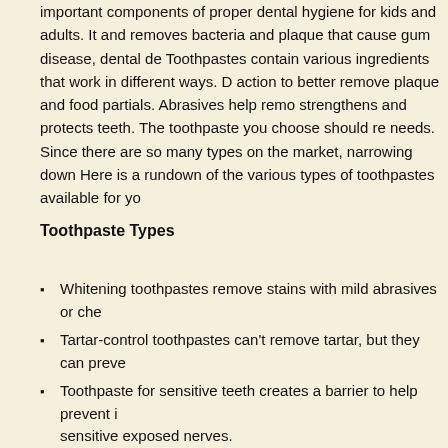important components of proper dental hygiene for kids and adults. It and removes bacteria and plaque that cause gum disease, dental de Toothpastes contain various ingredients that work in different ways. D action to better remove plaque and food partials. Abrasives help remo strengthens and protects teeth. The toothpaste you choose should re needs. Since there are so many types on the market, narrowing down Here is a rundown of the various types of toothpastes available for yo
Toothpaste Types
Whitening toothpastes remove stains with mild abrasives or che
Tartar-control toothpastes can't remove tartar, but they can preve
Toothpaste for sensitive teeth creates a barrier to help prevent i sensitive exposed nerves.
Fluoride toothpastes strengthen teeth by remineralizing them to acid. Most commercial toothpastes contain fluoride, many dentis patients without a fluoridated public water supply.
Smokers' toothpaste contain abrasives to remove stains, but the teeth and gums.
Natural toothpastes are designed for people who prefer all-natur They may or may not contain fluoride.
Children's toothpastes make dental hygiene for kids more appe